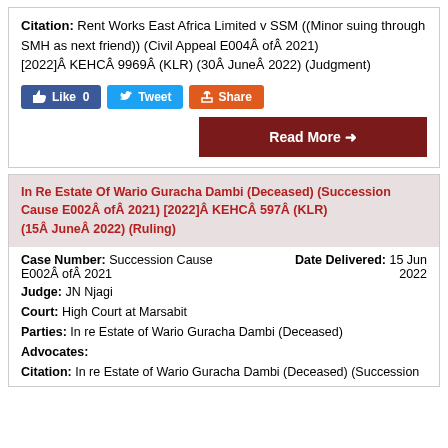Citation: Rent Works East Africa Limited v SSM ((Minor suing through SMH as next friend)) (Civil Appeal E004Â ofÂ 2021) [2022]Â KEHCÂ 9969Â (KLR) (30Â JuneÂ 2022) (Judgment)
[Figure (infographic): Social sharing buttons: Like 0 (Facebook blue), Tweet (Twitter blue), Share (orange/red)]
[Figure (infographic): Read More button with arrow, dark red background]
In Re Estate Of Wario Guracha Dambi (Deceased) (Succession Cause E002Â ofÂ 2021) [2022]Â KEHCÂ 597Â (KLR) (15Â JuneÂ 2022) (Ruling)
Case Number: Succession Cause E002Â ofÂ 2021
Date Delivered: 15 Jun 2022
Judge: JN Njagi
Court: High Court at Marsabit
Parties: In re Estate of Wario Guracha Dambi (Deceased)
Advocates:
Citation: In re Estate of Wario Guracha Dambi (Deceased) (Succession